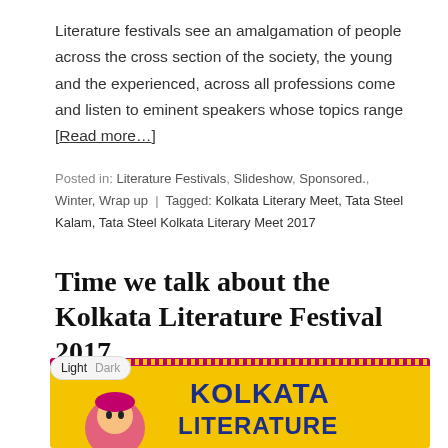Literature festivals see an amalgamation of people across the cross section of the society, the young and the experienced, across all professions come and listen to eminent speakers whose topics range [Read more…]
Posted in: Literature Festivals, Slideshow, Sponsored., Winter, Wrap up | Tagged: Kolkata Literary Meet, Tata Steel Kalam, Tata Steel Kolkata Literary Meet 2017
Time we talk about the Kolkata Literature Festival 2017
January 16, 2017 / Leave a Comment
[Figure (other): Kolkata Literature Festival 2017 banner with yellow background, decorative pink border at top, illustrated character on the left and bold blue text 'KOLKATA LITERATURE' on the right]